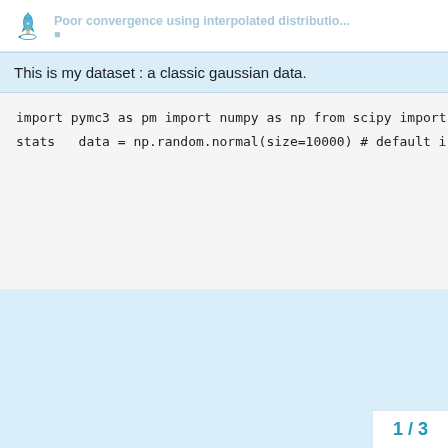Poor convergence using interpolated distributio...
This is my dataset : a classic gaussian data.
import pymc3 as pm
import numpy as np
from scipy import stats

data = np.random.normal(size=10000) # default i
1 / 3